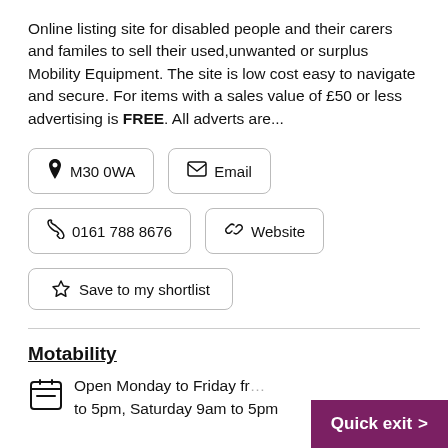Online listing site for disabled people and their carers and familes to sell their used,unwanted or surplus Mobility Equipment. The site is low cost easy to navigate and secure. For items with a sales value of £50 or less advertising is FREE. All adverts are...
📍 M30 0WA    ✉ Email
📞 0161 788 8676    🔗 Website
☆ Save to my shortlist
Motability
Open Monday to Friday fr... to 5pm, Saturday 9am to 5pm